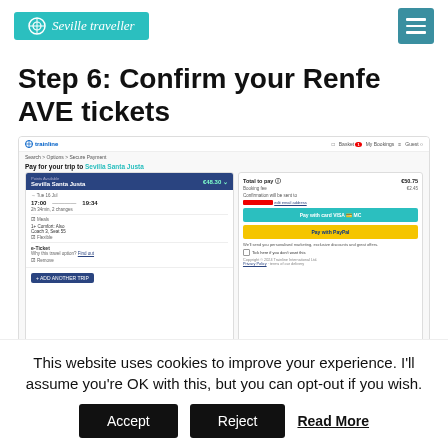Seville Traveller
Step 6: Confirm your Renfe AVE tickets
[Figure (screenshot): Screenshot of Trainline booking page showing 'Pay for your trip to Sevilla Santa Justa' with ticket details, price €48.30, total to pay €50.75, Pay with card and Pay with PayPal buttons]
This website uses cookies to improve your experience. I'll assume you're OK with this, but you can opt-out if you wish.
Accept   Reject   Read More